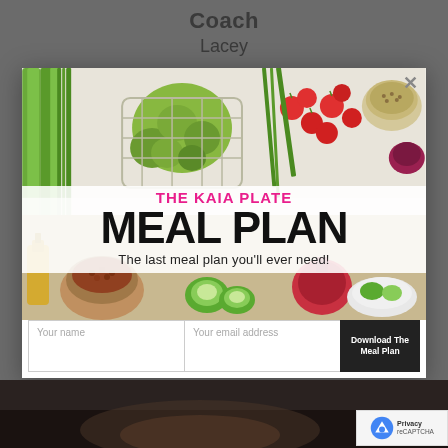Coach
Lacey
[Figure (screenshot): Modal popup with vegetable/food background image showing a meal plan sign-up form. Contains 'THE KAIA PLATE' in pink text, 'MEAL PLAN' in large bold black text, tagline 'The last meal plan you'll ever need!', and a form with fields for name, email, and a Download button.]
Your name
Your email address
Download The Meal Plan